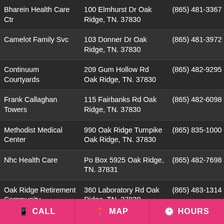| Name | Address | Phone |
| --- | --- | --- |
| Bharein Health Care Ctr | 100 Elmhurst Dr Oak Ridge, TN. 37830 | (865) 481-3367 |
| Camelot Family Svc | 103 Donner Dr Oak Ridge, TN. 37830 | (865) 481-3972 |
| Continuum Courtyards | 209 Gum Hollow Rd Oak Ridge, TN. 37830 | (865) 482-9295 |
| Frank Callaghan Towers | 115 Fairbanks Rd Oak Ridge, TN. 37830 | (865) 482-6098 |
| Methodist Medical Center | 990 Oak Ridge Turnpike Oak Ridge, TN. 37830 | (865) 835-1000 |
| Nhc Health Care | Po Box 5925 Oak Ridge, TN. 37831 | (865) 482-7698 |
| Oak Ridge Retirement Community | 360 Laboratory Rd Oak Ridge, TN. 37830 | (865) 483-1314 |
| Outlook Pointe At Oak Ridge | 734 Emory Valley Rd Oak Ridge, TN. 37830 | (865) 481-3900 |
| Premier Medical Assoc | 200 New York Ave # 330 Oak Ridge, TN. 37830 | (865) 483-8108 |
| Ridgeview Psychiatric | 240 W Tyrone Rd Oak | (865) 482-1076 |
CALL
MAP
HOURS